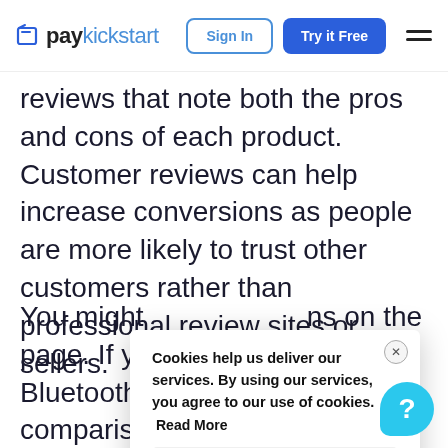paykickstart | Sign In | Try it Free
reviews that note both the pros and cons of each product. Customer reviews can help increase conversions as people are more likely to trust other customers rather than professional review sites or sellers.
You might … ns on the page. If yo … s, such as Bluetooth s … r a compariso … ners to quickly and … t features. This way, th … ind th … product th … eir nee …
[Figure (screenshot): Cookie consent modal overlay with text 'Cookies help us deliver our services. By using our services, you agree to our use of cookies. Read More' and buttons: Cookie settings, REJECT, ACCEPT]